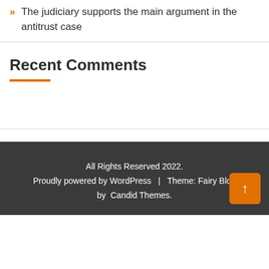The judiciary supports the main argument in the antitrust case
Recent Comments
All Rights Reserved 2022.
Proudly powered by WordPress  |  Theme: Fairy Blog by  Candid Themes.